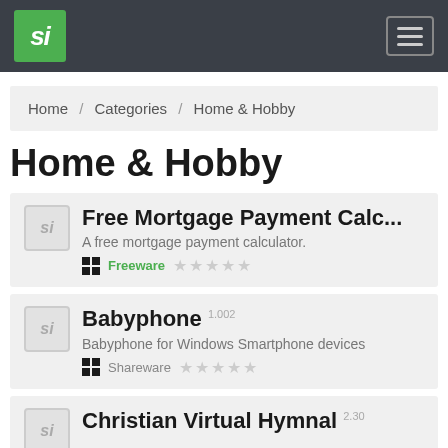si [logo] [menu button]
Home / Categories / Home & Hobby
Home & Hobby
Free Mortgage Payment Calc... - A free mortgage payment calculator. - Freeware - ☆☆☆☆☆
Babyphone 1.002 - Babyphone for Windows Smartphone devices - Shareware - ☆☆☆☆☆
Christian Virtual Hymnal 2.30